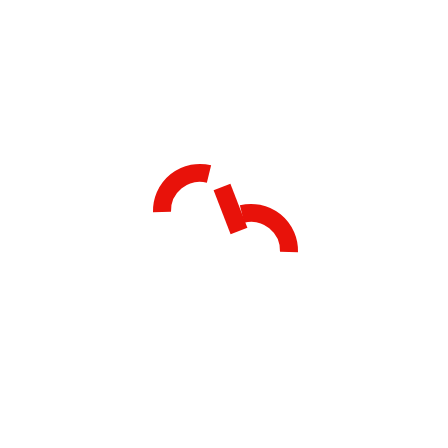[Figure (logo): A red logo consisting of two stylized arc/curve shapes resembling quotation marks or brackets, one facing up-left and one facing down-right, forming a compact abstract mark. The shapes are thick, bold, red strokes on a white background.]